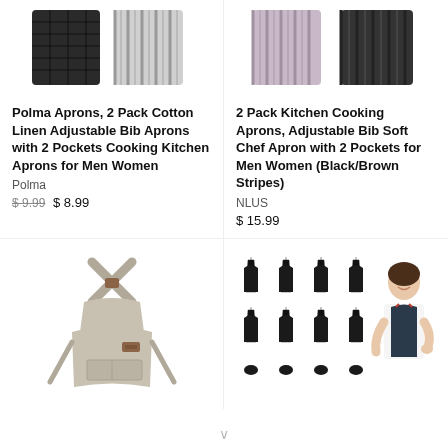[Figure (photo): Top portion of a Polma apron product image (black and white striped apron at top)]
[Figure (photo): Top portion of a 2 Pack Kitchen Cooking Aprons product image (black and striped aprons at top)]
Polma Aprons, 2 Pack Cotton Linen Adjustable Bib Aprons with 2 Pockets Cooking Kitchen Aprons for Men Women
2 Pack Kitchen Cooking Aprons, Adjustable Bib Soft Chef Apron with 2 Pockets for Men Women (Black/Brown Stripes)
Polma
NLUS
$ 9.99 $ 8.99
$ 15.99
[Figure (photo): Light gray canvas cross-back bib apron with leather strap and front pocket]
[Figure (photo): Multiple black aprons arranged in a grid, with a woman wearing a dark apron on the right side]